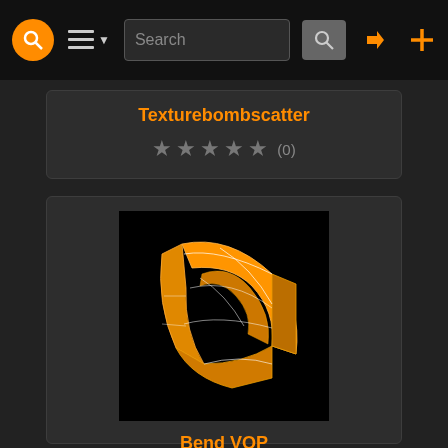Navigation bar with logo, menu, search, login and add icons
Texturebombscatter
(0) — 5 star rating, 0 reviews
[Figure (illustration): 3D orange bent/curved shape on black background representing Bend VOP node]
Bend VOP
(2) — 3 star rating, 2 reviews